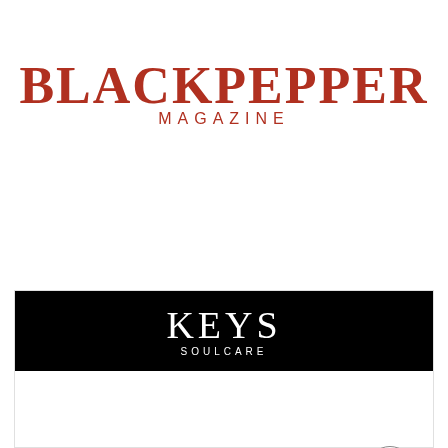[Figure (logo): BLACKPEPPER MAGAZINE logo in dark red/brick color, serif bold uppercase letters for BLACKPEPPER and smaller spaced caps for MAGAZINE]
[Figure (screenshot): Keys Soulcare advertisement banner with black header showing KEYS SOULCARE text in white, below shows white area with NEW text, a small black product dropper bottle, a circular back-to-top arrow button, and a gray card area at bottom]